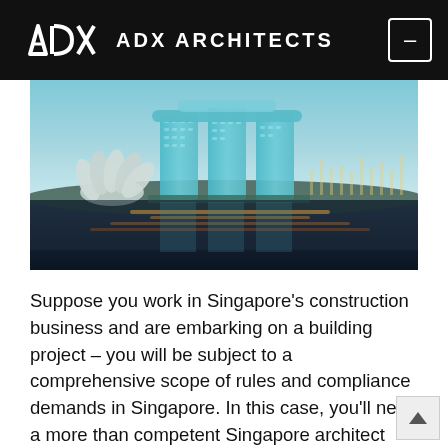ADX ARCHITECTS
[Figure (photo): Nighttime skyline of Singapore's Marina Bay Sands hotel and ArtScience Museum reflecting on the water, with glowing teal and orange lights.]
Suppose you work in Singapore's construction business and are embarking on a building project – you will be subject to a comprehensive scope of rules and compliance demands in Singapore. In this case, you'll need a more than competent Singapore architect